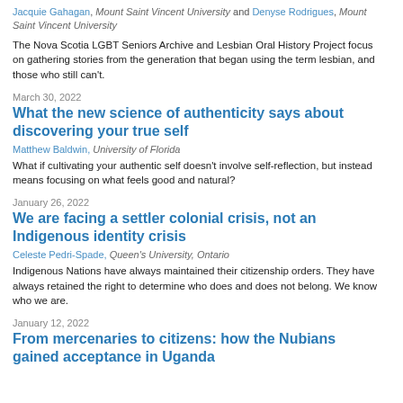Jacquie Gahagan, Mount Saint Vincent University and Denyse Rodrigues, Mount Saint Vincent University
The Nova Scotia LGBT Seniors Archive and Lesbian Oral History Project focus on gathering stories from the generation that began using the term lesbian, and those who still can't.
March 30, 2022
What the new science of authenticity says about discovering your true self
Matthew Baldwin, University of Florida
What if cultivating your authentic self doesn't involve self-reflection, but instead means focusing on what feels good and natural?
January 26, 2022
We are facing a settler colonial crisis, not an Indigenous identity crisis
Celeste Pedri-Spade, Queen's University, Ontario
Indigenous Nations have always maintained their citizenship orders. They have always retained the right to determine who does and does not belong. We know who we are.
January 12, 2022
From mercenaries to citizens: how the Nubians gained acceptance in Uganda